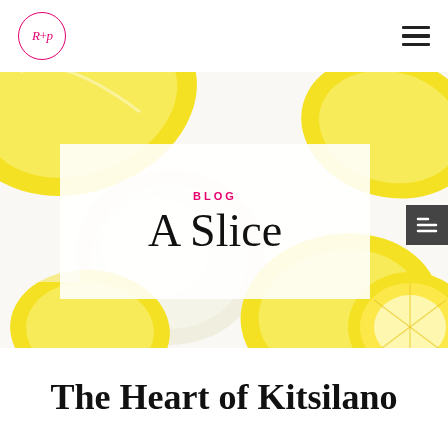[Figure (logo): Circular logo with R+p text in pink/red on white background]
[Figure (photo): Hero banner photograph of lemons and lemon slices on a white background, with a semi-transparent white overlay card in the center showing the blog label and script title 'A Slice']
The Heart of Kitsilano